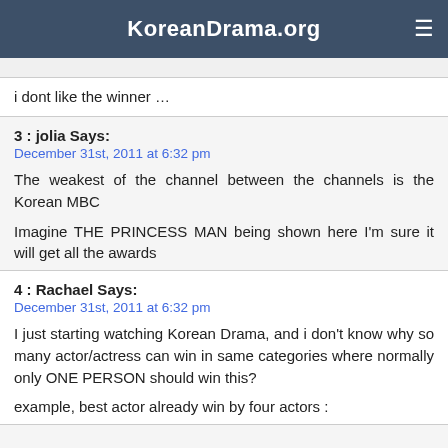KoreanDrama.org
i dont like the winner …
3 : jolia Says:
December 31st, 2011 at 6:32 pm
The weakest of the channel between the channels is the Korean MBC
Imagine THE PRINCESS MAN being shown here I'm sure it will get all the awards
4 : Rachael Says:
December 31st, 2011 at 6:32 pm
I just starting watching Korean Drama, and i don't know why so many actor/actress can win in same categories where normally only ONE PERSON should win this?
example, best actor already win by four actors :
(truncated)